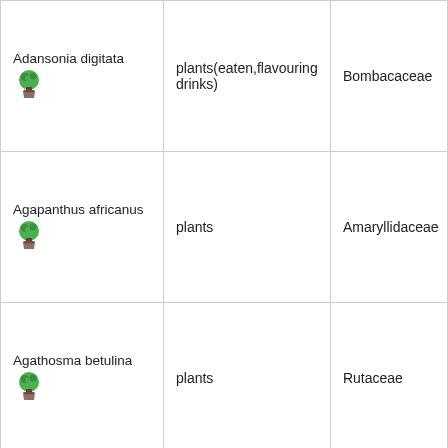| Adansonia digitata [icon] | plants(eaten,flavouring drinks) | Bombacaceae |
| Agapanthus africanus [icon] | plants | Amaryllidaceae |
| Agathosma betulina [icon] | plants | Rutaceae |
|  |  |  |